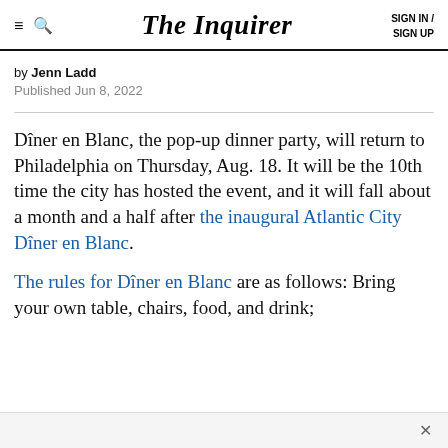The Inquirer  SIGN IN / SIGN UP
by Jenn Ladd
Published Jun 8, 2022
Dîner en Blanc, the pop-up dinner party, will return to Philadelphia on Thursday, Aug. 18. It will be the 10th time the city has hosted the event, and it will fall about a month and a half after the inaugural Atlantic City Dîner en Blanc.
The rules for Dîner en Blanc are as follows: Bring your own table, chairs, food, and drink;